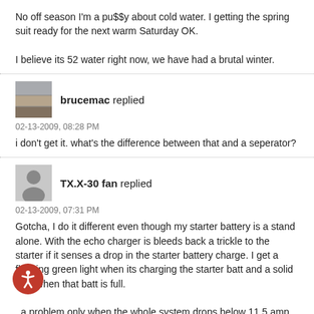No off season I'm a pu$$y about cold water. I getting the spring suit ready for the next warm Saturday OK.

I believe its 52 water right now, we have had a brutal winter.
brucemac replied
02-13-2009, 08:28 PM
i don't get it. what's the difference between that and a seperator?
TX.X-30 fan replied
02-13-2009, 07:31 PM
Gotcha, I do it different even though my starter battery is a stand alone. With the echo charger is bleeds back a trickle to the starter if it senses a drop in the starter battery charge. I get a flashing green light when its charging the starter batt and a solid light when that batt is full.
a problem only when the whole system drops below 11.5 amp output, the stereo batteries will output 12 until the are almost fully discharged. That is a battery swap at the change of temp reflection here.